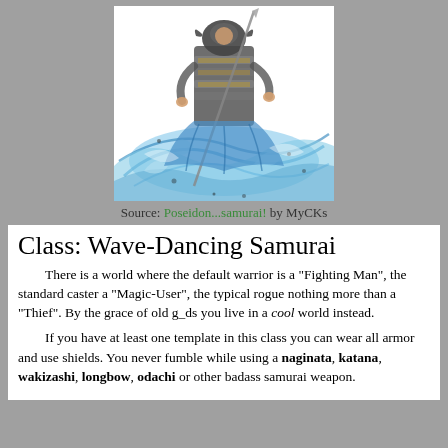[Figure (illustration): A watercolor-style illustration of a samurai warrior in blue swirling waves, holding a weapon, wearing ornate armor. Dynamic pose with blue and white flowing elements suggesting water or wind.]
Source: Poseidon...samurai! by MyCKs
Class: Wave-Dancing Samurai
There is a world where the default warrior is a "Fighting Man", the standard caster a "Magic-User", the typical rogue nothing more than a "Thief". By the grace of old g_ds you live in a cool world instead.
If you have at least one template in this class you can wear all armor and use shields. You never fumble while using a naginata, katana, wakizashi, longbow, odachi or other badass samurai weapon.